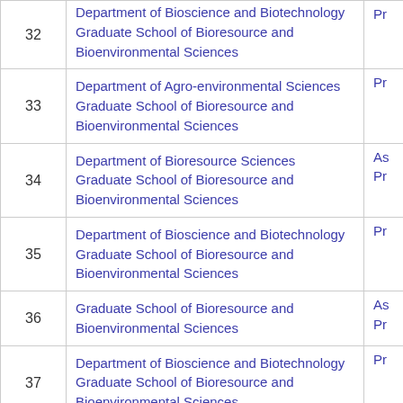| No. | Department / Graduate School | Position |
| --- | --- | --- |
| 32 | Department of Bioscience and Biotechnology
Graduate School of Bioresource and Bioenvironmental Sciences | Pr |
| 33 | Department of Agro-environmental Sciences
Graduate School of Bioresource and Bioenvironmental Sciences | Pr |
| 34 | Department of Bioresource Sciences
Graduate School of Bioresource and Bioenvironmental Sciences | As
Pr |
| 35 | Department of Bioscience and Biotechnology
Graduate School of Bioresource and Bioenvironmental Sciences | Pr |
| 36 | Graduate School of Bioresource and Bioenvironmental Sciences | As
Pr |
| 37 | Department of Bioscience and Biotechnology
Graduate School of Bioresource and Bioenvironmental Sciences | Pr |